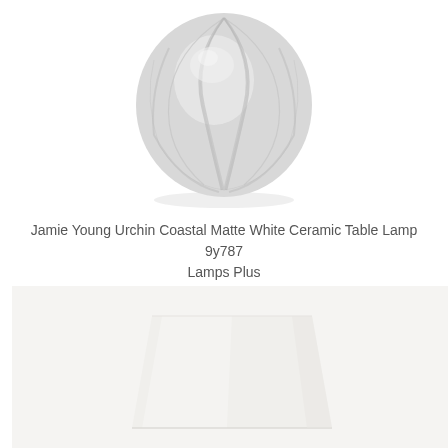[Figure (photo): A white ceramic lamp base shaped like a sea urchin or rounded ribbed sphere, matte white ceramic, photographed on a white background. The lamp base has organic ribbed lobes forming a round shape.]
Jamie Young Urchin Coastal Matte White Ceramic Table Lamp 9y787 Lamps Plus
[Figure (photo): A white square/slightly tapered lamp shade or ceramic piece, shown on a light cream/beige background. The object is white, boxy with slightly curved edges, photographed from a medium distance.]